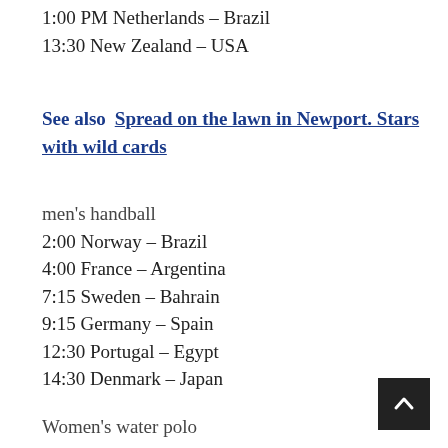1:00 PM Netherlands – Brazil
13:30 New Zealand – USA
See also  Spread on the lawn in Newport. Stars with wild cards
men's handball
2:00 Norway – Brazil
4:00 France – Argentina
7:15 Sweden – Bahrain
9:15 Germany – Spain
12:30 Portugal – Egypt
14:30 Denmark – Japan
Women's water polo
7:00 Japan – USA